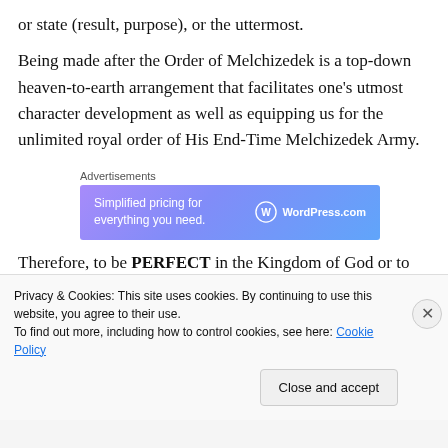or state (result, purpose), or the uttermost.
Being made after the Order of Melchizedek is a top-down heaven-to-earth arrangement that facilitates one's utmost character development as well as equipping us for the unlimited royal order of His End-Time Melchizedek Army.
[Figure (other): WordPress.com advertisement banner: 'Simplified pricing for everything you need.' with WordPress.com logo]
Therefore, to be PERFECT in the Kingdom of God or to call it MELCHIZEDEK PERFECTION...
Privacy & Cookies: This site uses cookies. By continuing to use this website, you agree to their use.
To find out more, including how to control cookies, see here: Cookie Policy